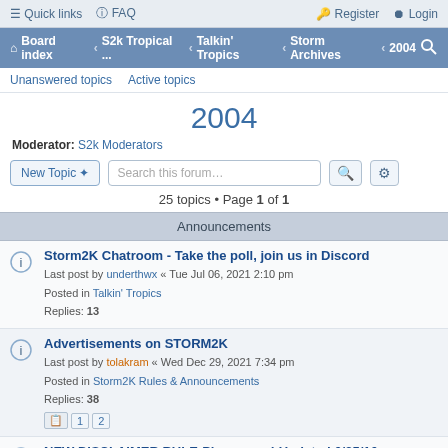≡ Quick links  FAQ   Register  Login
Board index · S2k Tropical ... · Talkin' Tropics · Storm Archives · 2004
Unanswered topics   Active topics
2004
Moderator: S2k Moderators
New Topic ✦   Search this forum…
25 topics • Page 1 of 1
Announcements
Storm2K Chatroom - Take the poll, join us in Discord
Last post by underthwx « Tue Jul 06, 2021 2:10 pm
Posted in Talkin' Tropics
Replies: 13
Advertisements on STORM2K
Last post by tolakram « Wed Dec 29, 2021 7:34 pm
Posted in Storm2K Rules & Announcements
Replies: 38
NEW DISCLAIMER RULE-Please read-Updated 6/25/16
Last post by Steve « Thu Jul 07, 2016 6:40 pm
Posted in Storm2K Rules & Announcements
Replies: 1
AVATARS-ALL PLEASE READ
Last post by tolakram « Tue Aug 27, 2019 7:14 am
Posted in Off Topic